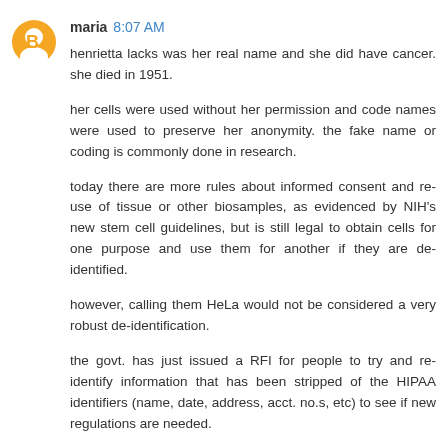maria 8:07 AM
henrietta lacks was her real name and she did have cancer. she died in 1951.
her cells were used without her permission and code names were used to preserve her anonymity. the fake name or coding is commonly done in research.
today there are more rules about informed consent and re-use of tissue or other biosamples, as evidenced by NIH's new stem cell guidelines, but is still legal to obtain cells for one purpose and use them for another if they are de-identified.
however, calling them HeLa would not be considered a very robust de-identification.
the govt. has just issued a RFI for people to try and re-identify information that has been stripped of the HIPAA identifiers (name, date, address, acct. no.s, etc) to see if new regulations are needed.